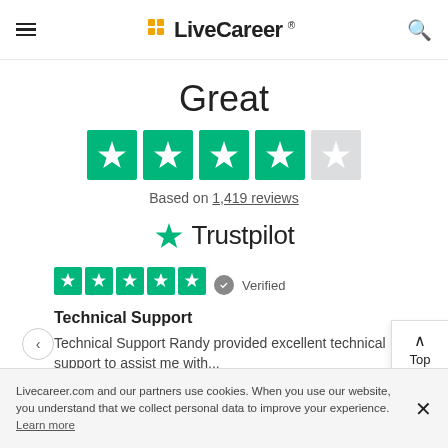LiveCareer
Great
[Figure (other): Trustpilot 4-star rating display with 5 green star boxes (4 filled green, 1 gray), then Trustpilot logo]
Based on 1,419 reviews
Trustpilot
Verified
Technical Support
Technical Support Randy provided excellent technical support to assist me with...
Nancy Bryant, August 14
Showing our favorite reviews
Livecareer.com and our partners use cookies. When you use our website, you understand that we collect personal data to improve your experience. Learn more